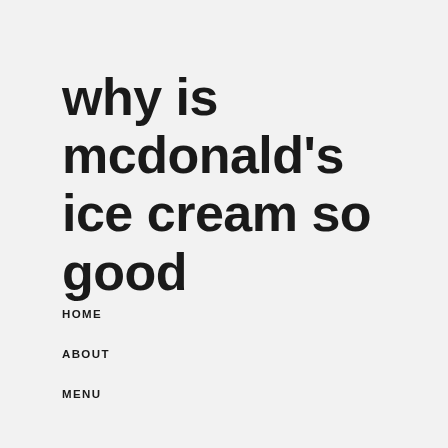why is mcdonald's ice cream so good
HOME
ABOUT
MENU